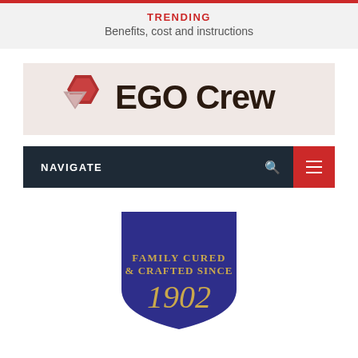TRENDING
Benefits, cost and instructions
[Figure (logo): EGO Crew logo with red hexagon shape and triangle on a light pinkish-beige background, followed by bold text 'EGO Crew']
NAVIGATE
[Figure (logo): Shield-shaped badge logo in dark blue/purple with gold text reading 'FAMILY CURED & CRAFTED SINCE 1902']